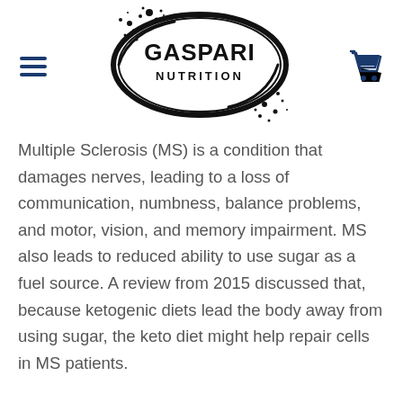[Figure (logo): Gaspari Nutrition logo — black oval with splatter ink design, bold text GASPARI NUTRITION inside]
Multiple Sclerosis (MS) is a condition that damages nerves, leading to a loss of communication, numbness, balance problems, and motor, vision, and memory impairment. MS also leads to reduced ability to use sugar as a fuel source. A review from 2015 discussed that, because ketogenic diets lead the body away from using sugar, the keto diet might help repair cells in MS patients.